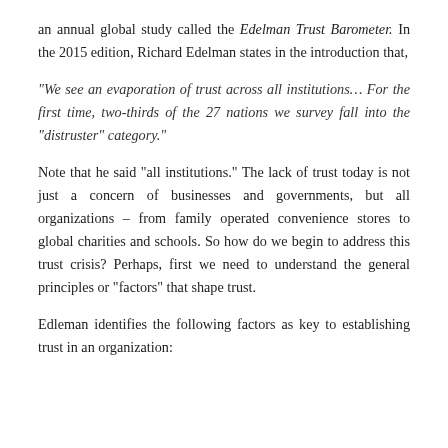an annual global study called the Edelman Trust Barometer. In the 2015 edition, Richard Edelman states in the introduction that,
“We see an evaporation of trust across all institutions… For the first time, two-thirds of the 27 nations we survey fall into the “distruster” category.”
Note that he said “all institutions.” The lack of trust today is not just a concern of businesses and governments, but all organizations – from family operated convenience stores to global charities and schools. So how do we begin to address this trust crisis? Perhaps, first we need to understand the general principles or “factors” that shape trust.
Edleman identifies the following factors as key to establishing trust in an organization: